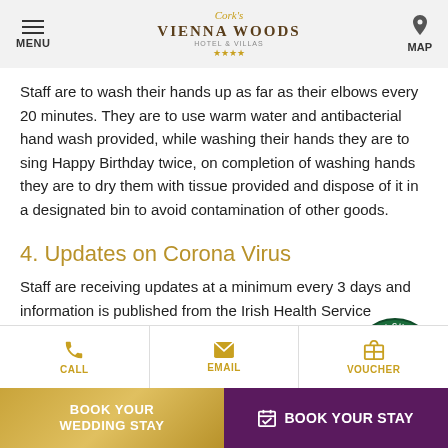MENU | Cork's Vienna Woods Hotel & Villas | MAP
Staff are to wash their hands up as far as their elbows every 20 minutes. They are to use warm water and antibacterial hand wash provided, while washing their hands they are to sing Happy Birthday twice, on completion of washing hands they are to dry them with tissue provided and dispose of it in a designated bin to avoid contamination of other goods.
4. Updates on Corona Virus
[Figure (logo): Safety Charter Covid-19 badge with green circle, checkmark, and text 'SAFETY CHARTER' and 'COVID-19']
Staff are receiving updates at a minimum every 3 days and information is published from the Irish Health Service Executive on
CALL | EMAIL | VOUCHER | BOOK YOUR WEDDING STAY | BOOK YOUR STAY